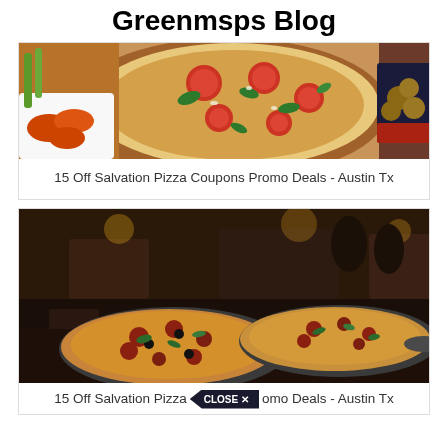Greenmsps Blog
[Figure (photo): Overhead shot of pizza with tomatoes, spinach, and cheese on a wooden board, with buffalo wings and celery on the left and fried food on the right]
15 Off Salvation Pizza Coupons Promo Deals - Austin Tx
[Figure (photo): Two large pizzas on metal pans in a restaurant setting with dark ambiance and people in the background]
15 Off Salvation Pizza Coupons Promo Deals - Austin Tx